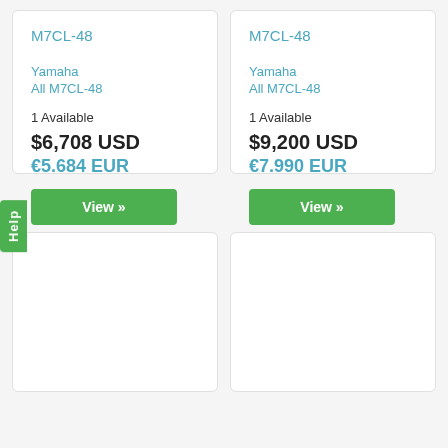M7CL-48
Yamaha
All M7CL-48
1 Available
$6,708 USD
€5.684 EUR
View »
M7CL-48
Yamaha
All M7CL-48
1 Available
$9,200 USD
€7.990 EUR
View »